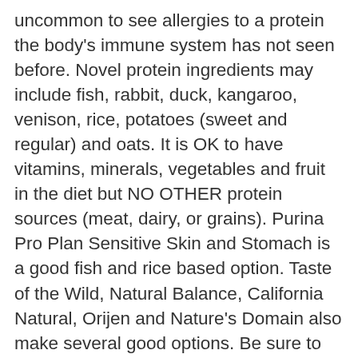uncommon to see allergies to a protein the body's immune system has not seen before. Novel protein ingredients may include fish, rabbit, duck, kangaroo, venison, rice, potatoes (sweet and regular) and oats. It is OK to have vitamins, minerals, vegetables and fruit in the diet but NO OTHER protein sources (meat, dairy, or grains). Purina Pro Plan Sensitive Skin and Stomach is a good fish and rice based option. Taste of the Wild, Natural Balance, California Natural, Orijen and Nature's Domain also make several good options. Be sure to read the ingredient lists as some of the flavors offered by these companies are hypoallergenic (novel protein) but many are not. There are constantly new diets coming on the market so this is just a sampling of what may be available. There are prescription diets available for dogs that still show signs of food allergy on these products. These diets use a different strategy called hydrolyzed protein. In these diets, the protein has been processed by hydrolysis to